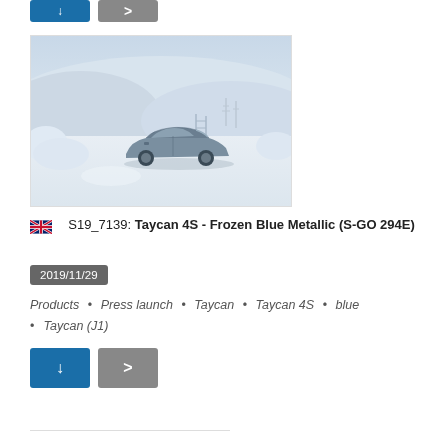[Figure (photo): A Porsche Taycan 4S in Frozen Blue Metallic driving on a snowy landscape with snow-covered terrain and trees in the background. Winter press launch photography.]
S19_7139: Taycan 4S - Frozen Blue Metallic (S-GO 294E)
2019/11/29
Products • Press launch • Taycan • Taycan 4S • blue • Taycan (J1)